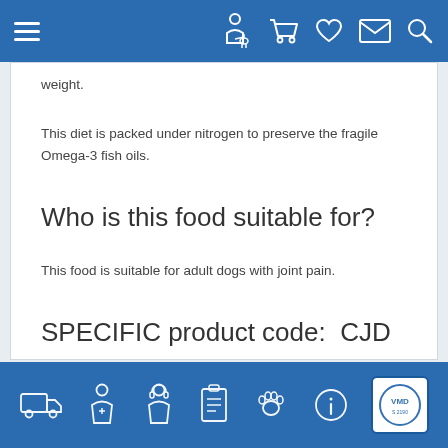Navigation bar with hamburger menu and icons (person with dog, cart, heart, mail, search)
weight.
This diet is packed under nitrogen to preserve the fragile Omega-3 fish oils.
Who is this food suitable for?
This food is suitable for adult dogs with joint pain.
SPECIFIC product code:  CJD
Bottom navigation bar with icons: delivery truck, person, person with headset, clipboard, paw print, info, VMD badge